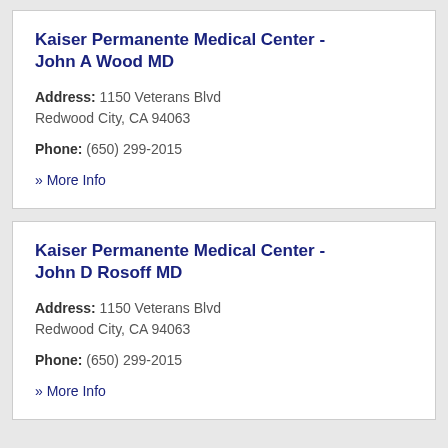Kaiser Permanente Medical Center - John A Wood MD
Address: 1150 Veterans Blvd Redwood City, CA 94063
Phone: (650) 299-2015
» More Info
Kaiser Permanente Medical Center - John D Rosoff MD
Address: 1150 Veterans Blvd Redwood City, CA 94063
Phone: (650) 299-2015
» More Info